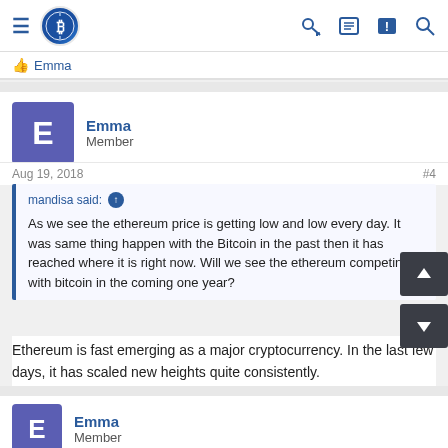Bitcoin forum navigation bar with hamburger menu, Bitcoin logo, key icon, menu icon, notification icon, search icon
👍 Emma
Emma
Member
Aug 19, 2018   #4
mandisa said: ↑
As we see the ethereum price is getting low and low every day. It was same thing happen with the Bitcoin in the past then it has reached where it is right now. Will we see the ethereum competing with bitcoin in the coming one year?
Ethereum is fast emerging as a major cryptocurrency. In the last few days, it has scaled new heights quite consistently.
Emma
Member